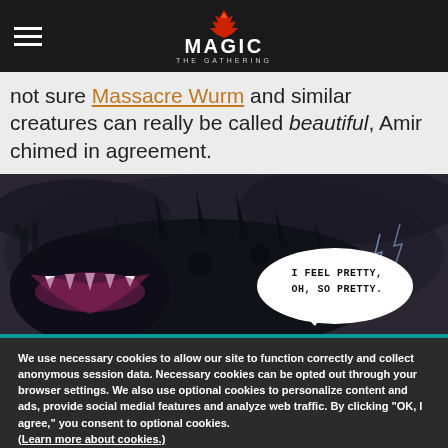Magic: The Gathering navigation header with hamburger menu and logo
not sure Massacre Wurm and similar creatures can really be called beautiful, Amir chimed in agreement.
[Figure (illustration): Dark fantasy creature (Massacre Wurm) with a speech bubble saying 'I FEEL PRETTY, OH, SO PRETTY.']
We use necessary cookies to allow our site to function correctly and collect anonymous session data. Necessary cookies can be opted out through your browser settings. We also use optional cookies to personalize content and ads, provide social medial features and analyze web traffic. By clicking "OK, I agree," you consent to optional cookies. (Learn more about cookies.)
OK, I agree    No, thanks